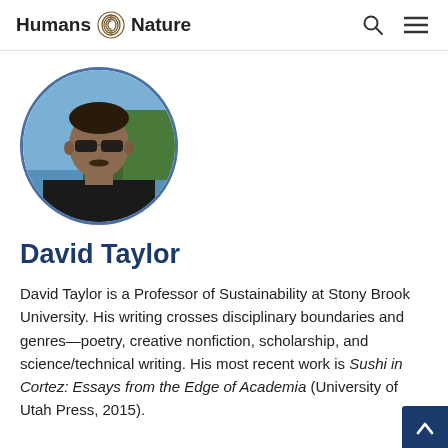Humans Nature
[Figure (photo): Circular profile photo of David Taylor, a man wearing sunglasses, outdoors with water and trees in the background.]
David Taylor
David Taylor is a Professor of Sustainability at Stony Brook University. His writing crosses disciplinary boundaries and genres—poetry, creative nonfiction, scholarship, and science/technical writing. His most recent work is Sushi in Cortez: Essays from the Edge of Academia (University of Utah Press, 2015).